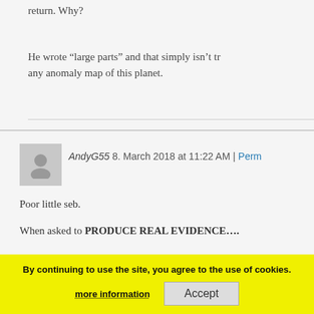return. Why?
He wrote “large parts” and that simply isn’t tr… any anomaly map of this planet.
AndyG55 8. March 2018 at 11:22 AM | Perm
Poor little seb.
When asked to PRODUCE REAL EVIDENCE….
… the poor little sludge-for-brains AGW stall-war… his face..
By continuing to use the site, you agree to the use of cookies.
more information
Accept
So predictable.. SO EMPTY … so seb.